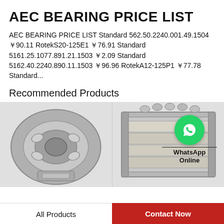AEC BEARING PRICE LIST
AEC BEARING PRICE LIST Standard 562.50.2240.001.49.1504 ￥90.11 RotekS20-125E1 ￥76.91 Standard 5161.25.1077.891.21.1503 ￥2.09 Standard 5162.40.2240.890.11.1503 ￥96.96 RotekA12-125P1 ￥77.78 Standard...
Recommended Products
[Figure (photo): WhatsApp Online widget with green phone icon]
[Figure (photo): Spherical roller bearing cross-section photo]
[Figure (photo): Four-row tapered roller bearing cross-section photo]
All Products
Contact Now